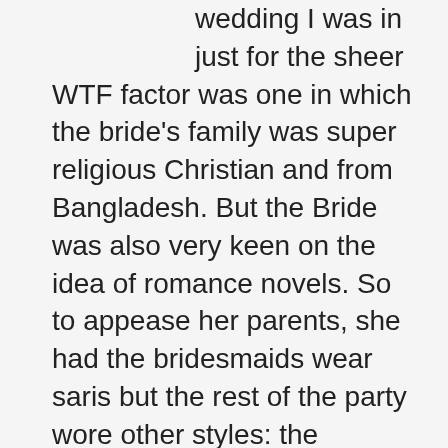wedding I was in just for the sheer WTF factor was one in which the bride's family was super religious Christian and from Bangladesh. But the Bride was also very keen on the idea of romance novels. So to appease her parents, she had the bridesmaids wear saris but the rest of the party wore other styles: the groomsmen wore a mandarin collar tux with tails, while she herself wore a medieval-style wedding dress with bell sleeves and her groom wore, as per her request, leather trousers, a white renaissance-style shirt, and a leather pirate coat.